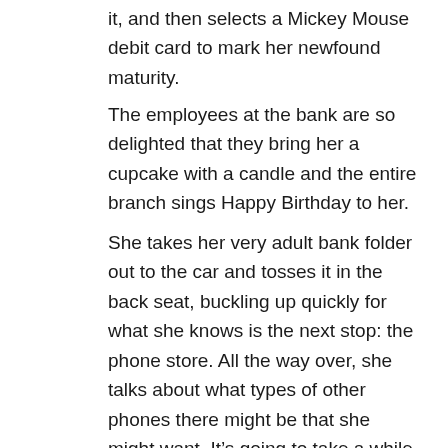it, and then selects a Mickey Mouse debit card to mark her newfound maturity.
The employees at the bank are so delighted that they bring her a cupcake with a candle and the entire branch sings Happy Birthday to her.
She takes her very adult bank folder out to the car and tosses it in the back seat, buckling up quickly for what she knows is the next stop: the phone store. All the way over, she talks about what types of other phones there might be that she might want. It’s going to take a while to make the decision, but in the end, the only thing that takes a while is waiting for someone to get her new iPhone out of the back of the store and activate it.